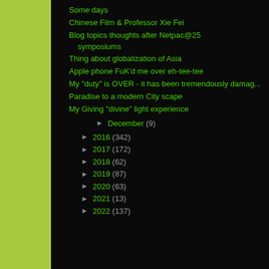Some days
Chinese Film & Professor Xie Fei
Blog topics thoughts after Netpac@25 symposiums
Thing about globalization of Asia
Apple phone FuK'd me over eh-tee-tee
My "duty" is OVER - it has been tremendously damag...
Paradise to a modern City scape
My Giving "divine" light experience
► December (9)
► 2016 (342)
► 2017 (172)
► 2018 (62)
► 2019 (87)
► 2020 (63)
► 2021 (13)
► 2022 (137)